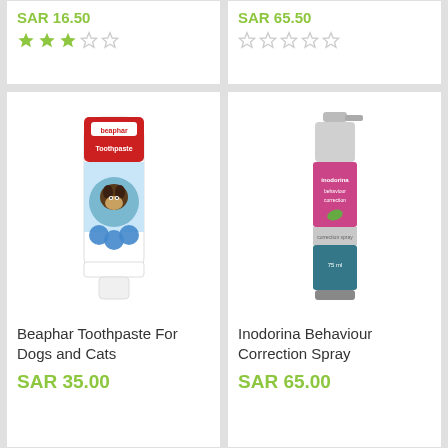SAR 16.50
[Figure (other): 3 filled stars and 2 empty stars rating]
SAR 65.50
[Figure (other): 5 empty stars rating]
[Figure (photo): Beaphar Toothpaste tube with dog image]
Beaphar Toothpaste For Dogs and Cats
SAR 35.00
[Figure (photo): Inodorina Behaviour Correction Spray bottle]
Inodorina Behaviour Correction Spray
SAR 65.00